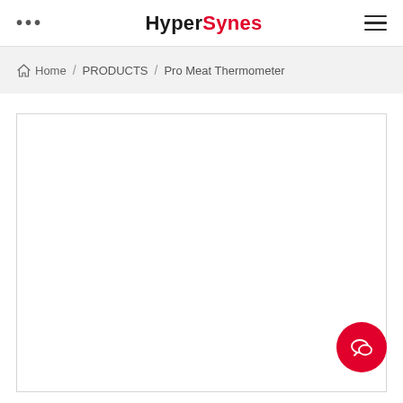HyperSynes
Home / PRODUCTS / Pro Meat Thermometer
[Figure (other): Large white product image area with border, currently blank/empty]